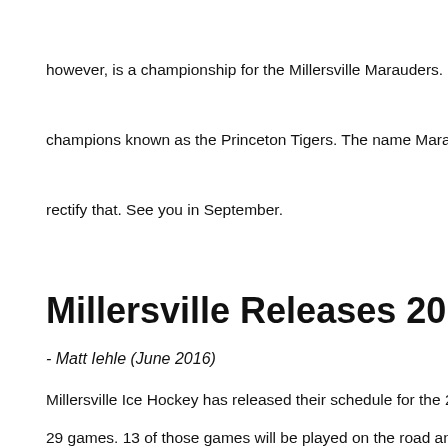however, is a championship for the Millersville Marauders. 9 othe
champions known as the Princeton Tigers. The name Marauders
rectify that. See you in September.
Millersville Releases 2016-2017 Sched
- Matt Iehle (June 2016)
Millersville Ice Hockey has released their schedule for the 2016
29 games. 13 of those games will be played on the road and 16